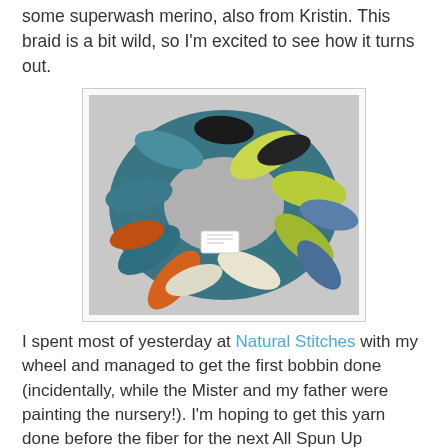some superwash merino, also from Kristin. This braid is a bit wild, so I'm excited to see how it turns out.
[Figure (photo): A colorful braid of hand-dyed wool roving coiled in a circle, showing colors of teal, yellow-green, black, orange, white, and blue, with a small white label tag visible.]
I spent most of yesterday at Natural Stitches with my wheel and managed to get the first bobbin done (incidentally, while the Mister and my father were painting the nursery!). I'm hoping to get this yarn done before the fiber for the next All Spun Up spinalong shows up in about a week. Perhaps that's a bit ambitious, but I'm running out of spinning time and am determined to get as much in while I can!
Sarah at 7:47 PM   3 comments: